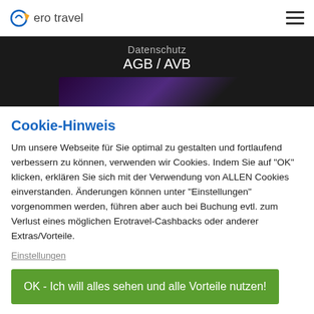ero travel
Datenschutz
AGB / AVB
[Figure (illustration): Dark banner with hexagon and abstract shapes in purple and dark tones]
Cookie-Hinweis
Um unsere Webseite für Sie optimal zu gestalten und fortlaufend verbessern zu können, verwenden wir Cookies. Indem Sie auf "OK" klicken, erklären Sie sich mit der Verwendung von ALLEN Cookies einverstanden. Änderungen können unter "Einstellungen" vorgenommen werden, führen aber auch bei Buchung evtl. zum Verlust eines möglichen Erotravel-Cashbacks oder anderer Extras/Vorteile.
Einstellungen
OK - Ich will alles sehen und alle Vorteile nutzen!